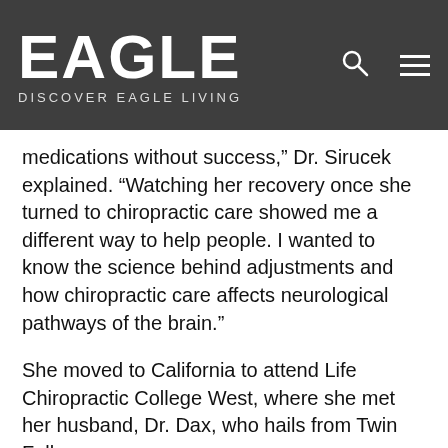EAGLE — DISCOVER EAGLE LIVING
medications without success,” Dr. Sirucek explained. “Watching her recovery once she turned to chiropractic care showed me a different way to help people. I wanted to know the science behind adjustments and how chiropractic care affects neurological pathways of the brain.”
She moved to California to attend Life Chiropractic College West, where she met her husband, Dr. Dax, who hails from Twin Falls.
Dr. Maria graduated from Life Chiropractic College West with honors and received the only clinical recognition excellence award for her class. She then went on to complete an additional post-doctoral certification in functional neurology through the